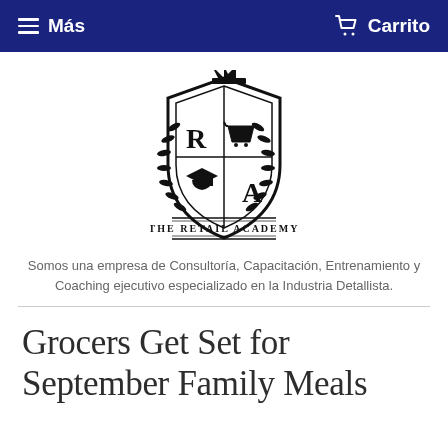≡ Más   🛒 Carrito
[Figure (logo): The Retail Academy shield logo with crown, laurel branches, letters R and A, shopping cart and graduation cap icons, and text THE RETAIL ACADEMY]
Somos una empresa de Consultoría, Capacitación, Entrenamiento y Coaching ejecutivo especializado en la Industria Detallista.
Grocers Get Set for September Family Meals